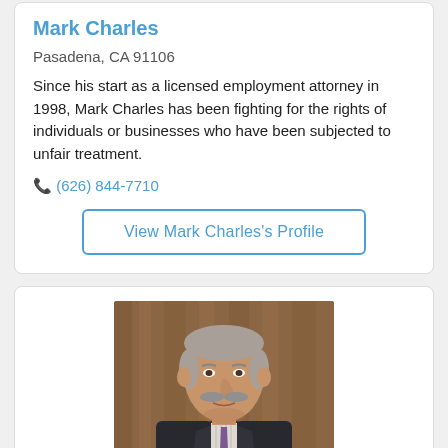Mark Charles
Pasadena, CA 91106
Since his start as a licensed employment attorney in 1998, Mark Charles has been fighting for the rights of individuals or businesses who have been subjected to unfair treatment.
(626) 844-7710
View Mark Charles's Profile
[Figure (photo): Professional headshot of an older man with gray hair and mustache, wearing a dark suit with a purple tie and striped shirt, against a wood-paneled background.]